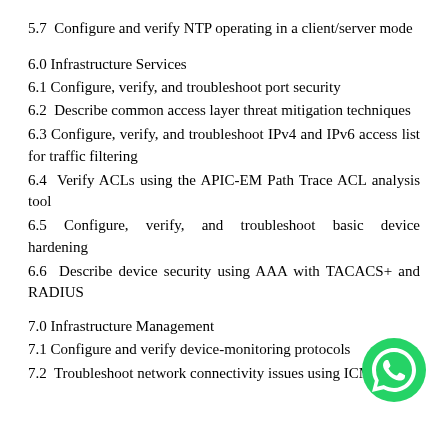5.7 Configure and verify NTP operating in a client/server mode
6.0 Infrastructure Services
6.1 Configure, verify, and troubleshoot port security
6.2 Describe common access layer threat mitigation techniques
6.3 Configure, verify, and troubleshoot IPv4 and IPv6 access list for traffic filtering
6.4 Verify ACLs using the APIC-EM Path Trace ACL analysis tool
6.5 Configure, verify, and troubleshoot basic device hardening
6.6 Describe device security using AAA with TACACS+ and RADIUS
7.0 Infrastructure Management
7.1 Configure and verify device-monitoring protocols
7.2 Troubleshoot network connectivity issues using ICMP...